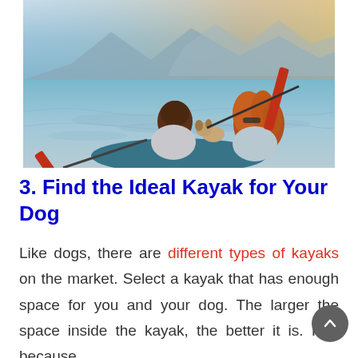[Figure (photo): Two people kayaking on a lake with mountains in the background. A small dog sits in the kayak between them. The person in front has short brown hair, the person in back has long red/auburn curly hair and sunglasses. They are paddling with red-bladed oars.]
3. Find the Ideal Kayak for Your Dog
Like dogs, there are different types of kayaks on the market. Select a kayak that has enough space for you and your dog. The larger the space inside the kayak, the better it is. It is because